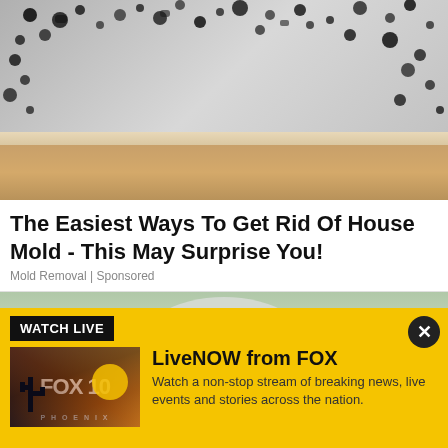[Figure (photo): Photo of black mold growing on white walls in the corner of a room, with wood baseboard and hardwood floor visible at bottom]
The Easiest Ways To Get Rid Of House Mold - This May Surprise You!
Mold Removal | Sponsored
[Figure (photo): Partial photo of outdoor scene, partially obscured by ad banner overlay]
WATCH LIVE
[Figure (logo): FOX 10 Phoenix logo on sunset background]
LiveNOW from FOX
Watch a non-stop stream of breaking news, live events and stories across the nation.